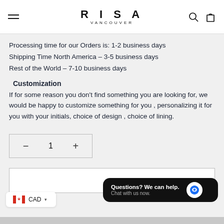RISA VANCOUVER
Processing time for our Orders is: 1-2 business days
Shipping Time North America – 3-5 business days
Rest of the World – 7-10 business days
Customization
If for some reason you don't find something you are looking for, we would be happy to customize something for you , personalizing it for you with your initials, choice of design , choice of lining.
[Figure (other): Quantity selector showing minus button, 1, and plus button inside a bordered box]
[Figure (other): Add to cart bar with chat bubble overlay reading 'Questions? We can help. Chat with us now.' and currency selector showing Canadian flag with CAD]